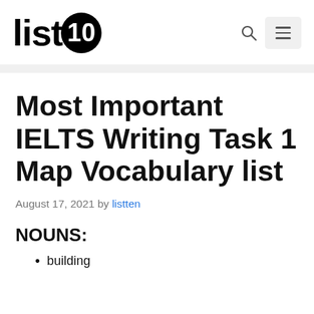[Figure (logo): list10 logo — the word 'list' followed by '10' inside a black circle]
Most Important IELTS Writing Task 1 Map Vocabulary list
August 17, 2021 by listten
NOUNS:
building